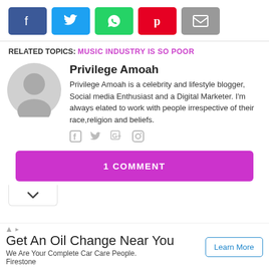[Figure (infographic): Social share buttons: Facebook (blue), Twitter (light blue), WhatsApp (green), Pinterest (red), Email (gray)]
RELATED TOPICS: MUSIC INDUSTRY IS SO POOR
Privilege Amoah
Privilege Amoah is a celebrity and lifestyle blogger, Social media Enthusiast and a Digital Marketer. I'm always elated to work with people irrespective of their race,religion and beliefs.
[Figure (infographic): Author social media icons: Facebook, Twitter, Google+, Instagram (all gray)]
1 COMMENT
[Figure (infographic): Chevron down arrow in a box]
Get An Oil Change Near You
We Are Your Complete Car Care People. Firestone
Learn More